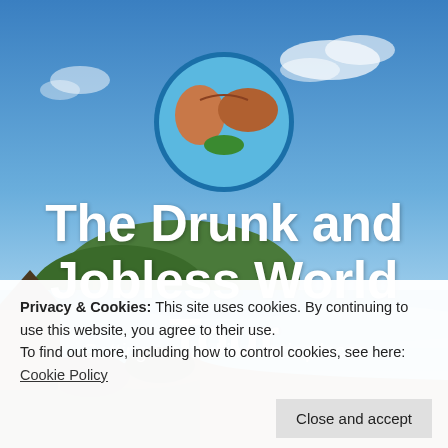[Figure (photo): Beach scene with blue sky, ocean, rocky shore, and tropical vegetation. Profile photo shows a woman kissing a deer/horse in a circular blue-bordered avatar.]
The Drunk and Jobless World Tour
Getting wasted in exotic places
Privacy & Cookies: This site uses cookies. By continuing to use this website, you agree to their use. To find out more, including how to control cookies, see here: Cookie Policy
Close and accept